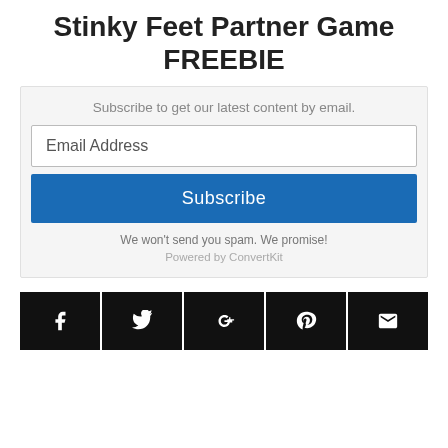Stinky Feet Partner Game FREEBIE
Subscribe to get our latest content by email.
Email Address
Subscribe
We won't send you spam. We promise!
Powered by ConvertKit
[Figure (infographic): Row of five social share icon buttons (Facebook, Twitter, Google+, Pinterest, Email) in black square buttons with white icons]